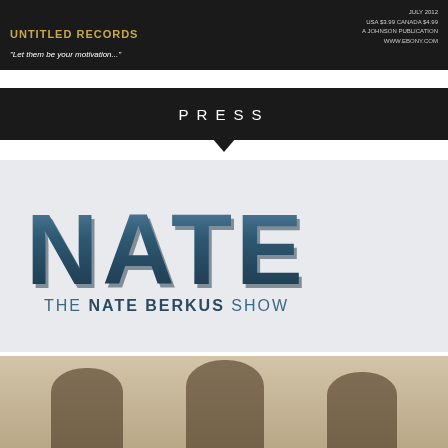[Figure (photo): Top banner with dark background, bold headline text in gold/yellow, italic tagline 'Let them be your motivation...', and publication info on the right (July 2012, USA $3.99 Canada $4.99, A Johnson Publication, www.ebony.com)]
PRESS
[Figure (logo): The Nate Berkus Show logo on light gray background. Large bold 'NATE' in dark teal/navy with 3D effect, subtitle 'THE NATE BERKUS SHOW' below in dark teal sans-serif font.]
[Figure (photo): Photo of three people (men) standing together in what appears to be an indoor setting with drapes/curtains in the background.]